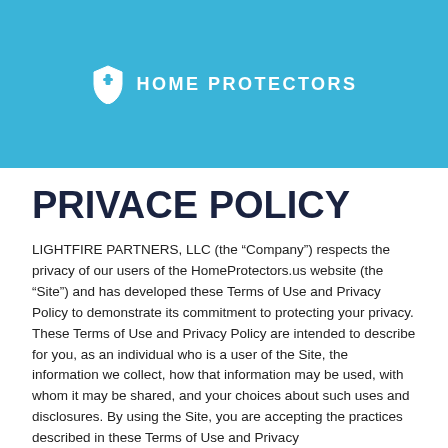[Figure (logo): Home Protectors logo with shield icon and company name in white on blue background]
PRIVACE POLICY
LIGHTFIRE PARTNERS, LLC (the “Company”) respects the privacy of our users of the HomeProtectors.us website (the “Site”) and has developed these Terms of Use and Privacy Policy to demonstrate its commitment to protecting your privacy. These Terms of Use and Privacy Policy are intended to describe for you, as an individual who is a user of the Site, the information we collect, how that information may be used, with whom it may be shared, and your choices about such uses and disclosures. By using the Site, you are accepting the practices described in these Terms of Use and Privacy